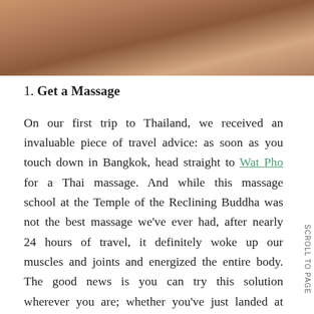[Figure (photo): Close-up photo of skin tones in warm orange and brown hues, partially cropped at top of page]
1. Get a Massage
On our first trip to Thailand, we received an invaluable piece of travel advice: as soon as you touch down in Bangkok, head straight to Wat Pho for a Thai massage. And while this massage school at the Temple of the Reclining Buddha was not the best massage we've ever had, after nearly 24 hours of travel, it definitely woke up our muscles and joints and energized the entire body. The good news is you can try this solution wherever you are; whether you've just landed at your home airport and want to summon a Zeel massage therapist to meet you at your front door, or at your hotel's spa (which may very likely be staffed with Zeel therapists as well.) Depending on whether your jet lag